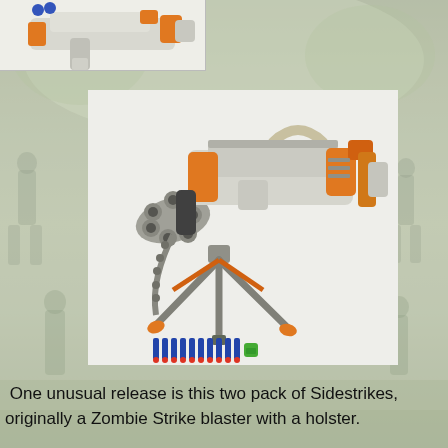[Figure (photo): Top-left partial product image of a Nerf blaster (white/orange/blue) on white background, partially cropped]
[Figure (photo): Large central product photo of a white and orange Nerf motorized blaster on a tripod stand with blue foam darts laid in front on a white background]
One unusual release is this two pack of Sidestrikes, originally a Zombie Strike blaster with a holster.
[Figure (photo): Bottom product image showing two small white/orange Nerf Sidestrike blasters side by side on a white background, partially visible]